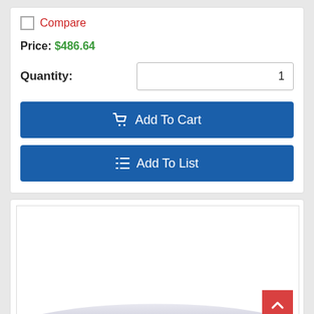Compare
Price: $486.64
Quantity: 1
Add To Cart
Add To List
[Figure (photo): Product photo showing a metallic/chrome curved object (possibly a kitchen appliance or automotive accessory), partially visible at the bottom of the image area.]